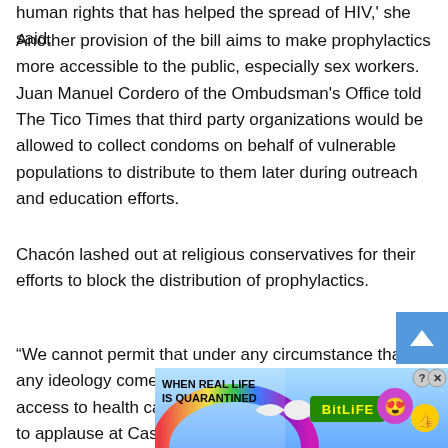human rights that has helped the spread of HIV,' she said.
Another provision of the bill aims to make prophylactics more accessible to the public, especially sex workers. Juan Manuel Cordero of the Ombudsman's Office told The Tico Times that third party organizations would be allowed to collect condoms on behalf of vulnerable populations to distribute to them later during outreach and education efforts.
Chacón lashed out at religious conservatives for their efforts to block the distribution of prophylactics.
“We cannot permit that under any circumstance that any ideology come before human rights and universal access to health care,” the Second Vice President said to applause at Casa Presidencial on Tuesday.
[Figure (other): Advertisement banner for BitLife mobile game with rainbow background, text 'WHEN REAL LIFE IS QUARANTINED', BitLife logo, emoji characters, and close/help buttons.]